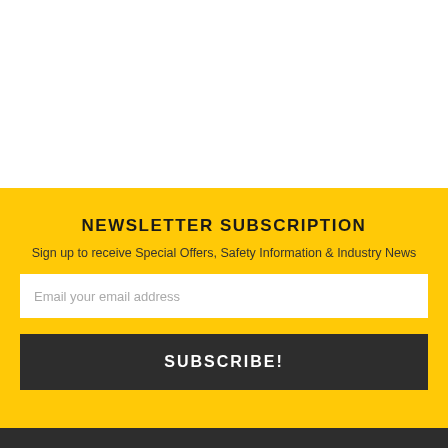NEWSLETTER SUBSCRIPTION
Sign up to receive Special Offers, Safety Information & Industry News
Email your email address
SUBSCRIBE!